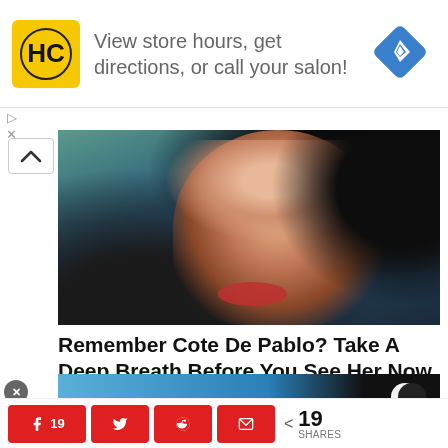[Figure (infographic): Advertisement banner with HC salon logo (yellow square), text 'View store hours, get directions, or call your salon!' and a blue navigation diamond icon]
[Figure (photo): Close-up photo of a young woman with dark curly hair and red lips, cropped tightly to show face and upper body]
Remember Cote De Pablo? Take A Deep Breath Before You See Her Now
Trips-Shop.com | Sponsored
[Figure (screenshot): Partial banner image with dark background, person silhouette, and moon/circle icons, overlaid with text 'AI Advertising']
[Figure (infographic): Social share bar with Facebook (19), Twitter, Reddit, Email share buttons in red, plus a share count showing 19 SHARES]